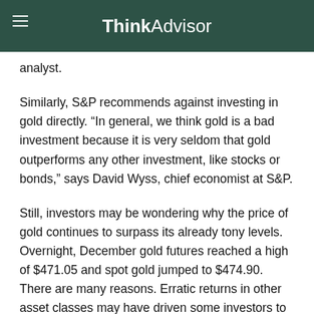ThinkAdvisor
analyst.
Similarly, S&P recommends against investing in gold directly. “In general, we think gold is a bad investment because it is very seldom that gold outperforms any other investment, like stocks or bonds,” says David Wyss, chief economist at S&P.
Still, investors may be wondering why the price of gold continues to surpass its already tony levels. Overnight, December gold futures reached a high of $471.05 and spot gold jumped to $474.90. There are many reasons. Erratic returns in other asset classes may have driven some investors to gold